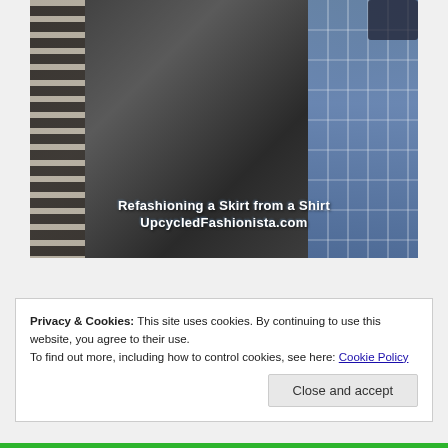[Figure (photo): Close-up photo of dark fabric/denim material with a woven/zigzag trim on the left side and a blue cutting mat with grid lines on the right. Overlaid text reads 'Refashioning a Skirt from a Shirt' and 'UpcycledFashionista.com']
Privacy & Cookies: This site uses cookies. By continuing to use this website, you agree to their use.
To find out more, including how to control cookies, see here: Cookie Policy
Close and accept